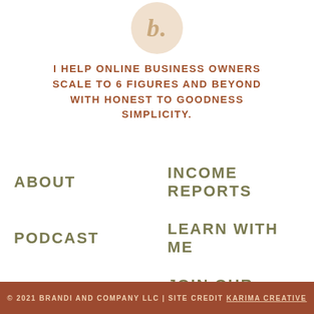[Figure (logo): Circular logo with beige/cream background showing italic letter 'b.' in gold/tan color]
I HELP ONLINE BUSINESS OWNERS SCALE TO 6 FIGURES AND BEYOND WITH HONEST TO GOODNESS SIMPLICITY.
ABOUT
INCOME REPORTS
PODCAST
LEARN WITH ME
CONTACT
JOIN OUR TEAM
© 2021 BRANDI AND COMPANY LLC | SITE CREDIT KARIMA CREATIVE